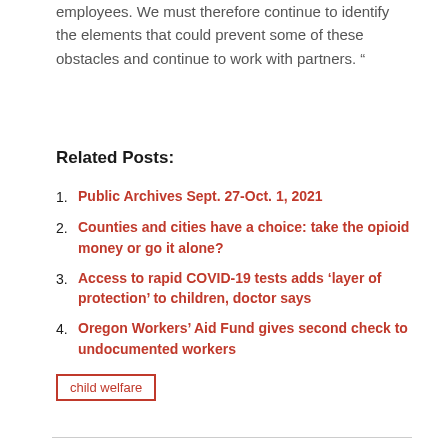employees. We must therefore continue to identify the elements that could prevent some of these obstacles and continue to work with partners. ”
Related Posts:
Public Archives Sept. 27-Oct. 1, 2021
Counties and cities have a choice: take the opioid money or go it alone?
Access to rapid COVID-19 tests adds ‘layer of protection’ to children, doctor says
Oregon Workers’ Aid Fund gives second check to undocumented workers
child welfare